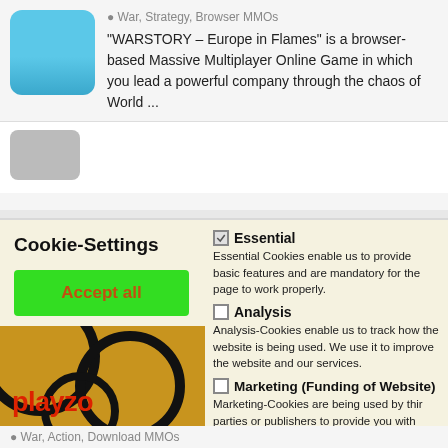War, Strategy, Browser MMOs
"WARSTORY – Europe in Flames" is a browser-based Massive Multiplayer Online Game in which you lead a powerful company through the chaos of World ...
Cookie-Settings
Accept all
Essential only
save and close
Essential – Essential Cookies enable us to provide basic features and are mandatory for the page to work properly.
Analysis – Analysis-Cookies enable us to track how the website is being used. We use it to improve the website and our services.
Marketing (Funding of Website) – Marketing-Cookies are being used by thir parties or publishers to provide you with personalized advertisements. This is being performed by tracking visitors across websites.
War, Action, Download MMOs
[Figure (screenshot): Playzo gaming website with cookie consent dialog overlay showing Accept all, Essential only, and save and close buttons, with Essential, Analysis, and Marketing cookie options on the right panel]